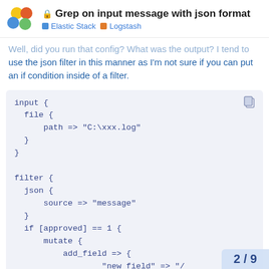Grep on input message with json format — Elastic Stack · Logstash
Well, did you run that config? What was the output? I tend to use the json filter in this manner as I'm not sure if you can put an if condition inside of a filter.
[Figure (screenshot): Code block showing Logstash configuration with input file, filter json, and if condition with mutate add_field]
2 / 9